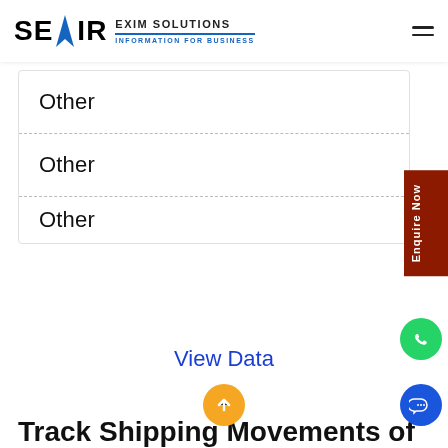SEAIR EXIM SOLUTIONS — INFORMATION FOR BUSINESS
Other
Other
Other
View Data
Track Shipping Movements of Competitors